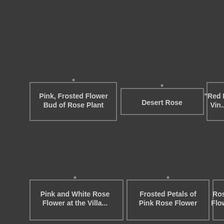[Figure (screenshot): Grid of image thumbnails with captions on dark background. Visible captions: 'Pink, Frosted Flower Bud of Rose Plant', 'Desert Rose', '"Red L... Vin...', 'Pink and White Rose Flower at the Villa...', 'Frosted Petals of Pink Rose Flower', 'Rose... Flowe...']
Pink, Frosted Flower Bud of Rose Plant
Desert Rose
"Red L... Vin...
Pink and White Rose Flower at the Villa...
Frosted Petals of Pink Rose Flower
Rose... Flowe...